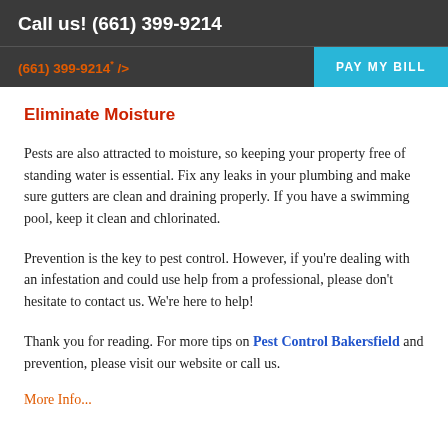Call us! (661) 399-9214
(661) 399-9214  />  PAY MY BILL
Eliminate Moisture
Pests are also attracted to moisture, so keeping your property free of standing water is essential. Fix any leaks in your plumbing and make sure gutters are clean and draining properly. If you have a swimming pool, keep it clean and chlorinated.
Prevention is the key to pest control. However, if you're dealing with an infestation and could use help from a professional, please don't hesitate to contact us. We're here to help!
Thank you for reading. For more tips on Pest Control Bakersfield and prevention, please visit our website or call us.
More Info...